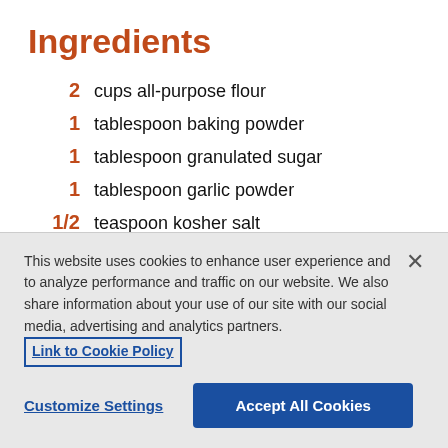Ingredients
2  cups all-purpose flour
1  tablespoon baking powder
1  tablespoon granulated sugar
1  tablespoon garlic powder
1/2  teaspoon kosher salt
1  stick (8 tablespoons), unsalted butter, melted
This website uses cookies to enhance user experience and to analyze performance and traffic on our website. We also share information about your use of our site with our social media, advertising and analytics partners.  Link to Cookie Policy
Customize Settings   Accept All Cookies